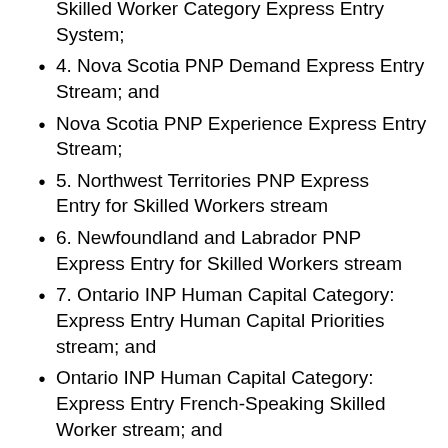Skilled Worker Category Express Entry System;
4. Nova Scotia PNP Demand Express Entry Stream; and
Nova Scotia PNP Experience Express Entry Stream;
5. Northwest Territories PNP Express Entry for Skilled Workers stream
6. Newfoundland and Labrador PNP Express Entry for Skilled Workers stream
7. Ontario INP Human Capital Category: Express Entry Human Capital Priorities stream; and
Ontario INP Human Capital Category: Express Entry French-Speaking Skilled Worker stream; and
Ontario INP Human Capital Category: